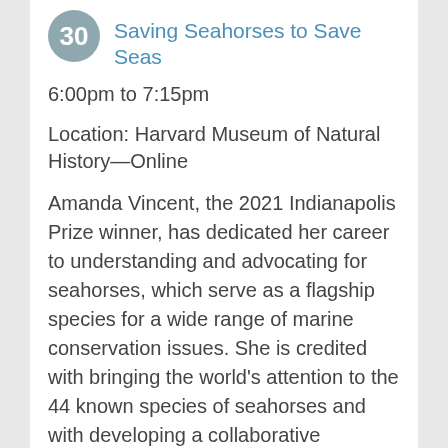Saving Seahorses to Save Seas
6:00pm to 7:15pm
Location: Harvard Museum of Natural History—Online
Amanda Vincent, the 2021 Indianapolis Prize winner, has dedicated her career to understanding and advocating for seahorses, which serve as a flagship species for a wide range of marine conservation issues. She is credited with bringing the world's attention to the 44 known species of seahorses and with developing a collaborative approach to marine